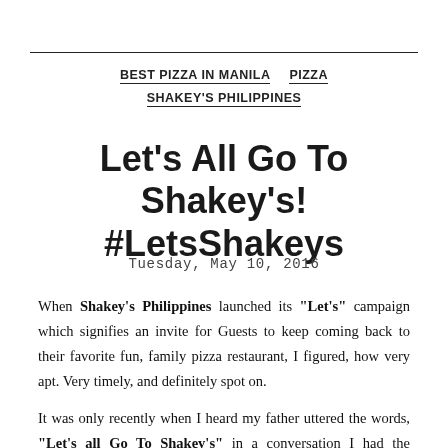BEST PIZZA IN MANILA  PIZZA  SHAKEY'S PHILIPPINES
Let's All Go To Shakey's! #LetsShakeys
Tuesday, May 10, 2016
When Shakey's Philippines launched its "Let's" campaign which signifies an invite for Guests to keep coming back to their favorite fun, family pizza restaurant, I figured, how very apt. Very timely, and definitely spot on.
It was only recently when I heard my father uttered the words, "Let's all Go To Shakey's" in a conversation I had the privilege to be a part of,